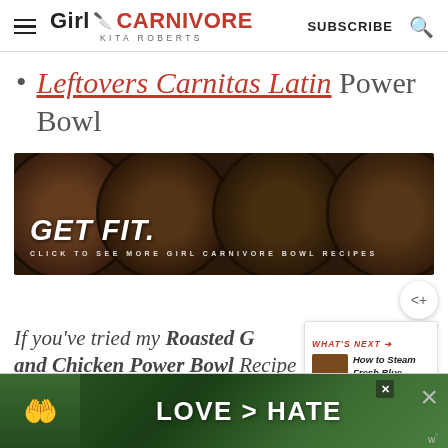Girl Carnivore - Kita Roberts | SUBSCRIBE
Leftovers Carnitas Latin Power Bowl
[Figure (photo): Promotional banner with overhead photos of food bowls. Text reads: GET FIT. CLICK TO SEE MORE GIRL CARNIVORE BOWL RECIPES]
If you've tried my Roasted [Garlic] and Chicken Power Bowl Recipe or...
[Figure (photo): What's Next panel showing: How to Steam Fresh Blue...]
[Figure (photo): Advertisement banner: LOVE > HATE with hands forming a heart shape]